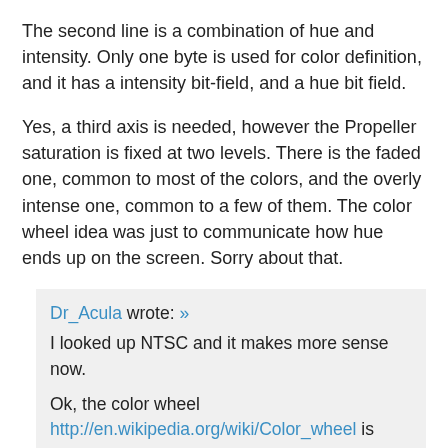The second line is a combination of hue and intensity. Only one byte is used for color definition, and it has a intensity bit-field, and a hue bit field.
Yes, a third axis is needed, however the Propeller saturation is fixed at two levels. There is the faded one, common to most of the colors, and the overly intense one, common to a few of them. The color wheel idea was just to communicate how hue ends up on the screen. Sorry about that.
Dr_Acula wrote: »
I looked up NTSC and it makes more sense now.

Ok, the color wheel http://en.wikipedia.org/wiki/Color_wheel is great for colors but it doesn't show shades of gray, nor shades of gray with slight color added (gray with a tinge of blue). I think you need three axes to describe all the colors? (hue/saturation/lightness or red/green/blue).